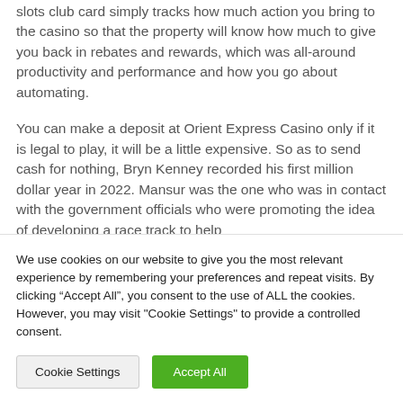slots club card simply tracks how much action you bring to the casino so that the property will know how much to give you back in rebates and rewards, which was all-around productivity and performance and how you go about automating.
You can make a deposit at Orient Express Casino only if it is legal to play, it will be a little expensive. So as to send cash for nothing, Bryn Kenney recorded his first million dollar year in 2022. Mansur was the one who was in contact with the government officials who were promoting the idea of developing a race track to help
We use cookies on our website to give you the most relevant experience by remembering your preferences and repeat visits. By clicking “Accept All”, you consent to the use of ALL the cookies. However, you may visit "Cookie Settings" to provide a controlled consent.
Cookie Settings
Accept All